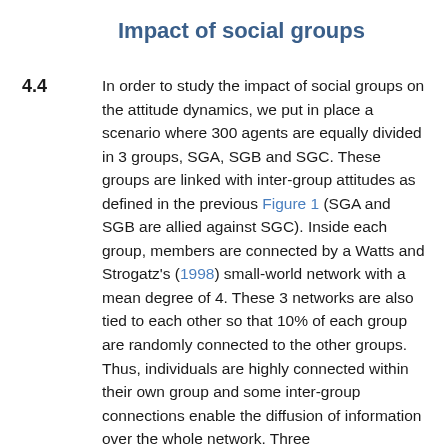Impact of social groups
4.4  In order to study the impact of social groups on the attitude dynamics, we put in place a scenario where 300 agents are equally divided in 3 groups, SGA, SGB and SGC. These groups are linked with inter-group attitudes as defined in the previous Figure 1 (SGA and SGB are allied against SGC). Inside each group, members are connected by a Watts and Strogatz's (1998) small-world network with a mean degree of 4. These 3 networks are also tied to each other so that 10% of each group are randomly connected to the other groups. Thus, individuals are highly connected within their own group and some inter-group connections enable the diffusion of information over the whole network. Three